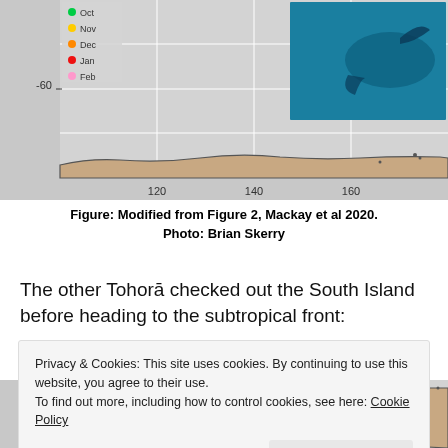[Figure (map): Top portion of a map showing Australian/Pacific region with colored dots for months Oct-Feb, y-axis showing -60, x-axis showing 120, 140, 160. Inset photo of a whale (Tohorā) underwater by Brian Skerry. Legend shows colored dots: Oct (green), Nov (yellow), Dec (orange), Jan (red), Feb (pink).]
Figure: Modified from Figure 2, Mackay et al 2020.
Photo: Brian Skerry
The other Tohorā checked out the South Island before heading to the subtropical front:
[Figure (map): Bottom portion of a map showing New Zealand / South Island region. Y-axis label -30 visible. Land mass shown in tan/beige color with dark outline on gray gridded background.]
Privacy & Cookies: This site uses cookies. By continuing to use this website, you agree to their use.
To find out more, including how to control cookies, see here: Cookie Policy
Close and accept